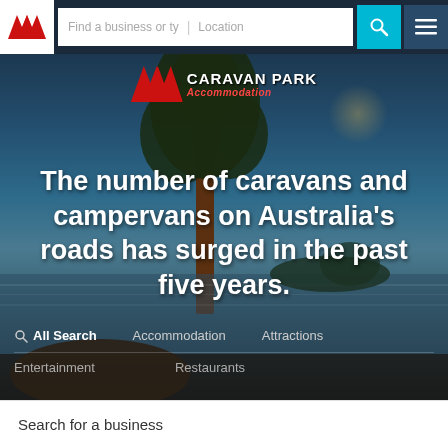Find a business or ty   Location [search] [menu]
[Figure (logo): Caravan Park Accommodation logo with red double-M icon]
The number of caravans and campervans on Australia's roads has surged in the past five years.
All Search   Accommodation   Attractions
Entertainment   Restaurants
Search for a business